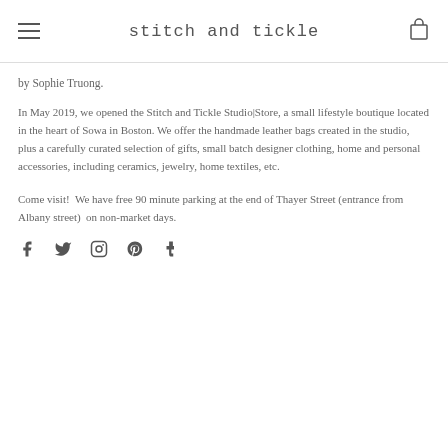stitch and tickle
by Sophie Truong.
In May 2019, we opened the Stitch and Tickle Studio|Store, a small lifestyle boutique located in the heart of Sowa in Boston. We offer the handmade leather bags created in the studio, plus a carefully curated selection of gifts, small batch designer clothing, home and personal accessories, including ceramics, jewelry, home textiles, etc.
Come visit!  We have free 90 minute parking at the end of Thayer Street (entrance from Albany street)  on non-market days.
[Figure (other): Social media icons: Facebook, Twitter, Instagram, Pinterest, Tumblr]